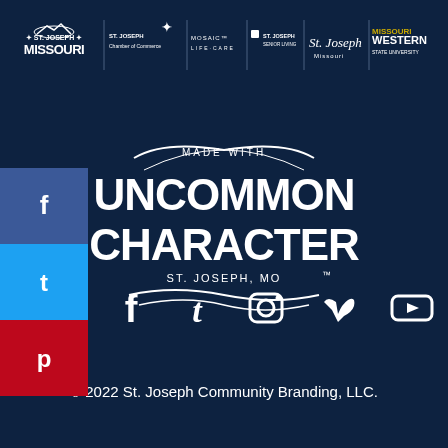[Figure (logo): Row of partner organization logos: St. Joseph Missouri, St. Joseph Chamber of Commerce, Mosaic Life Care, St. Joseph Senior Living, St. Joseph Missouri script logo, Missouri Western State University]
[Figure (logo): Made with Uncommon Character St. Joseph MO trademark logo in white on dark navy background]
[Figure (infographic): Social media share buttons on left side: Facebook (blue), Twitter (light blue), Pinterest (red)]
[Figure (infographic): Social media icons row: Facebook, Twitter, Instagram, Vimeo, YouTube]
© 2022 St. Joseph Community Branding, LLC.